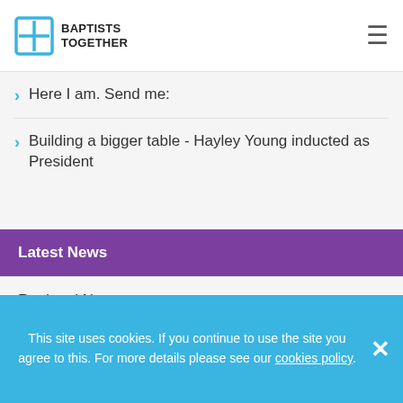BAPTISTS TOGETHER
Here I am. Send me:
Building a bigger table - Hayley Young inducted as President
Latest News
Regional News
National News
International News
This site uses cookies. If you continue to use the site you agree to this. For more details please see our cookies policy.